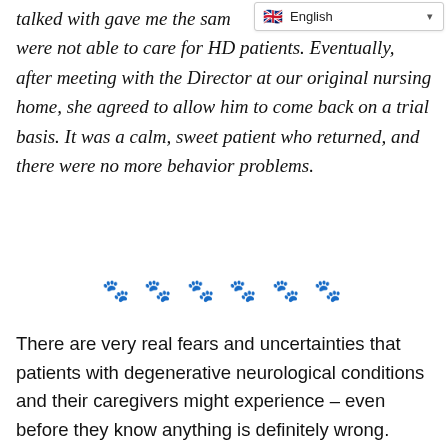[Figure (other): Language selector widget showing English with flag emoji in top right corner]
talked with gave me the same answer – they were not able to care for HD patients. Eventually, after meeting with the Director at our original nursing home, she agreed to allow him to come back on a trial basis. It was a calm, sweet patient who returned, and there were no more behavior problems.
🐾 🐾 🐾 🐾 🐾 🐾
There are very real fears and uncertainties that patients with degenerative neurological conditions and their caregivers might experience – even before they know anything is definitely wrong. These diseases have so many possible early signs and symptoms that anger episodes can seem as though the person is just having a really bad day and overreacting. Often, the explosive person forgets it